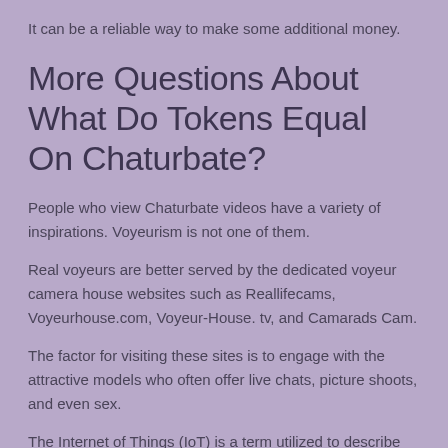It can be a reliable way to make some additional money.
More Questions About What Do Tokens Equal On Chaturbate?
People who view Chaturbate videos have a variety of inspirations. Voyeurism is not one of them.
Real voyeurs are better served by the dedicated voyeur camera house websites such as Reallifecams, Voyeurhouse.com, Voyeur-House. tv, and Camarads Cam.
The factor for visiting these sites is to engage with the attractive models who often offer live chats, picture shoots, and even sex.
The Internet of Things (IoT) is a term utilized to describe the next generation of linked gadgets such as appliances, automobiles,